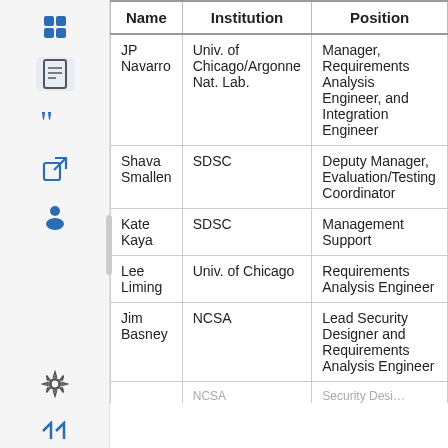| Name | Institution | Position |
| --- | --- | --- |
| JP Navarro | Univ. of Chicago/Argonne Nat. Lab. | Manager, Requirements Analysis Engineer, and Integration Engineer |
| Shava Smallen | SDSC | Deputy Manager, Evaluation/Testing Coordinator |
| Kate Kaya | SDSC | Management Support |
| Lee Liming | Univ. of Chicago | Requirements Analysis Engineer |
| Jim Basney | NCSA | Lead Security Designer and Requirements Analysis Engineer |